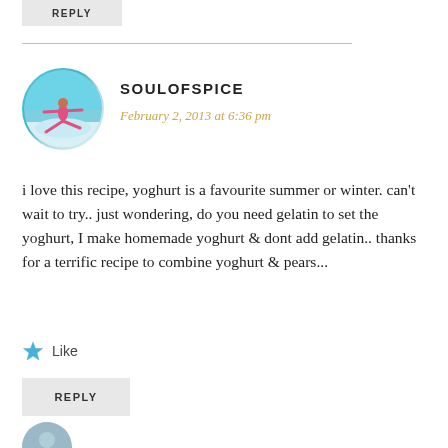REPLY
SOULOFSPICE
February 2, 2013 at 6:36 pm
i love this recipe, yoghurt is a favourite summer or winter. can't wait to try.. just wondering, do you need gelatin to set the yoghurt, I make homemade yoghurt & dont add gelatin.. thanks for a terrific recipe to combine yoghurt & pears...
Like
REPLY